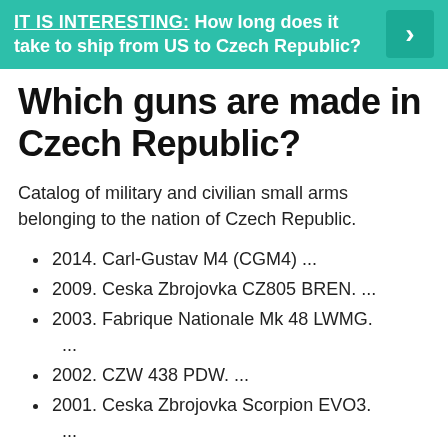[Figure (infographic): Teal/turquoise banner with text 'IT IS INTERESTING: How long does it take to ship from US to Czech Republic?' and a right-arrow button on the right side.]
Which guns are made in Czech Republic?
Catalog of military and civilian small arms belonging to the nation of Czech Republic.
2014. Carl-Gustav M4 (CGM4) ...
2009. Ceska Zbrojovka CZ805 BREN. ...
2003. Fabrique Nationale Mk 48 LWMG. ...
2002. CZW 438 PDW. ...
2001. Ceska Zbrojovka Scorpion EVO3. ...
2001. CheyTac Intervention. ...